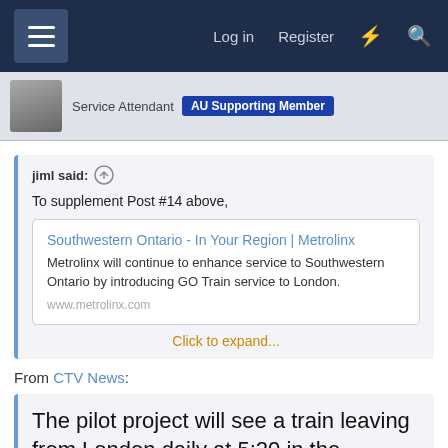Log in  Register
Service Attendant   AU Supporting Member
jiml said:
To supplement Post #14 above,
Southwestern Ontario - In Your Region | Metrolinx
Metrolinx will continue to enhance service to Southwestern Ontario by introducing GO Train service to London.
www.metrolinx.com
Click to expand...
From CTV News:
The pilot project will see a train leaving from London daily at 5:20 in the morning arriving at union at 9:15 a.m. and one return train leaving Toronto at 4:19 in the afternoon arriving in